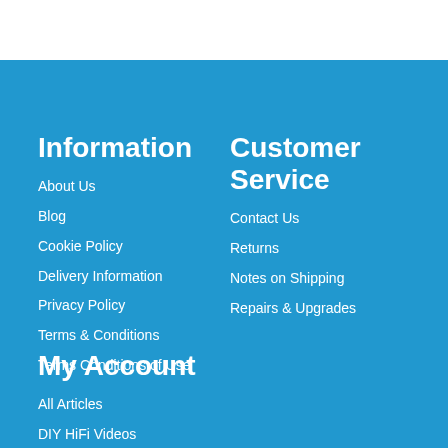Information
About Us
Blog
Cookie Policy
Delivery Information
Privacy Policy
Terms & Conditions
Terms Conditions of Use
Customer Service
Contact Us
Returns
Notes on Shipping
Repairs & Upgrades
My Account
All Articles
DIY HiFi Videos